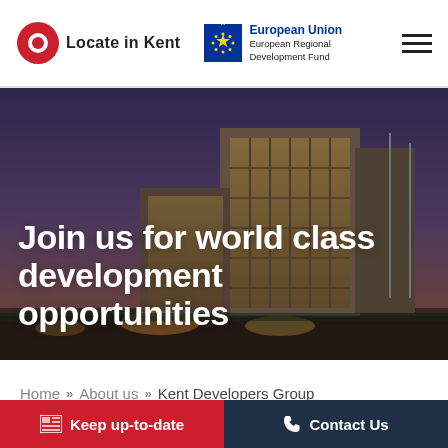Locate in Kent | European Union European Regional Development Fund
[Figure (photo): Modern commercial/business building with glass facade and warm lighting at dusk]
Join us for world class development opportunities
Home >> About us >> Kent Developers Group
Keep up-to-date
Contact Us